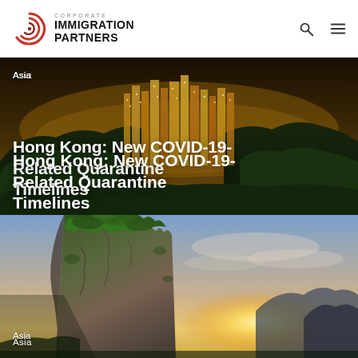CORPORATE IMMIGRATION PARTNERS
[Figure (photo): Aerial view of dense Hong Kong skyline with skyscrapers lit at night surrounded by lush green hills]
Asia
Hong Kong: New COVID-19-Related Quarantine Timelines
[Figure (photo): Dramatic limestone karst rock formation with green vegetation at top against sunset sky with mountains in background]
Asia